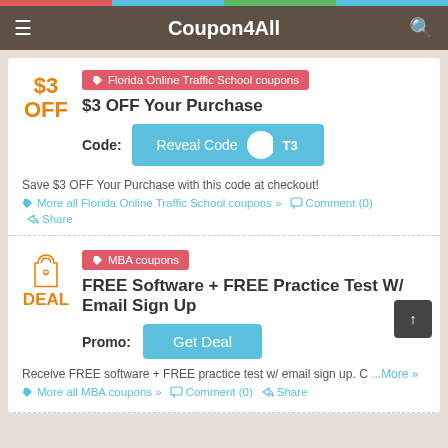Coupon4All
Florida Online Traffic School coupons
$3 OFF Your Purchase
Code: Reveal Code T3
Save $3 OFF Your Purchase with this code at checkout!
More all Florida Online Traffic School coupons » Comment (0) Share
MBA coupons
FREE Software + FREE Practice Test W/ Email Sign Up
Promo: Get Deal
Receive FREE software + FREE practice test w/ email sign up. C ...More »
More all MBA coupons » Comment (0) Share